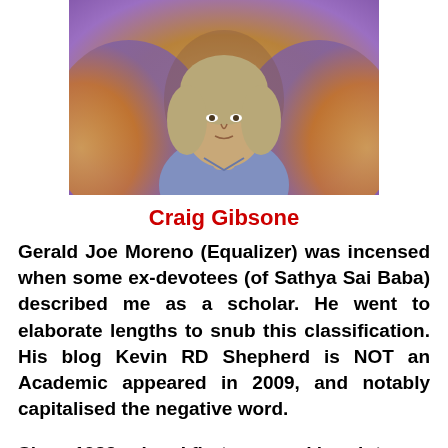[Figure (photo): Photograph of Craig Gibsone, a person with medium-length gray-blonde hair wearing a blue shirt, set against a colorful psychedelic background with warm orange and purple tones.]
Craig Gibsone
Gerald Joe Moreno (Equalizer) was incensed when some ex-devotees (of Sathya Sai Baba) described me as a scholar. He went to elaborate lengths to snub this classification. His blog Kevin RD Shepherd is NOT an Academic appeared in 2009, and notably capitalised the negative word.
Since 1983, when I first emerged in print,